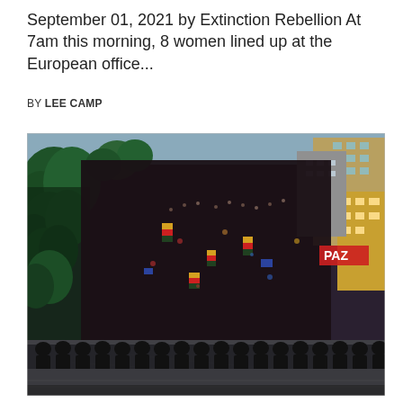September 01, 2021 by Extinction Rebellion At 7am this morning, 8 women lined up at the European office...
BY LEE CAMP
[Figure (photo): Aerial view of a massive crowd of protesters marching down a city street, with trees on the left side and buildings on the right. A line of riot police in black uniforms and helmets stands at the bottom of the image, facing the crowd. Colorful flags including Bolivian-style flags are visible among the crowd. A red banner reading 'PAZ' is visible on the right side.]